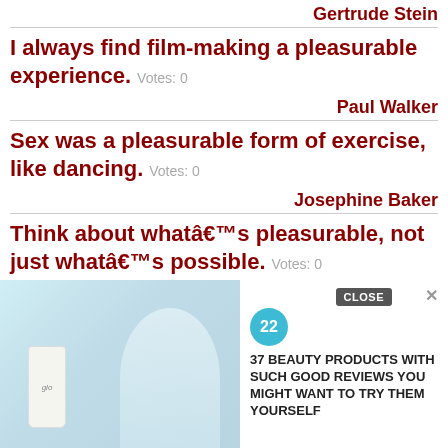Gertrude Stein
I always find film-making a pleasurable experience. Votes: 0
Paul Walker
Sex was a pleasurable form of exercise, like dancing. Votes: 0
Josephine Baker
Think about whatâs pleasurable, not just whatâs possible. Votes: 0
Brenã© Brown
[Figure (screenshot): Advertisement banner showing glo beauty product and a woman, with text '37 BEAUTY PRODUCTS WITH SUCH GOOD REVIEWS YOU MIGHT WANT TO TRY THEM YOURSELF' and a '22' badge, with a CLOSE button overlay]